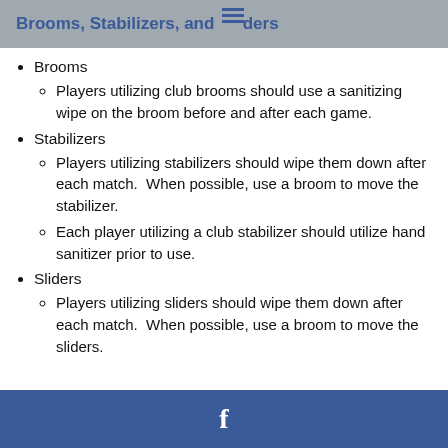Brooms, Stabilizers, and Sliders
Brooms
Players utilizing club brooms should use a sanitizing wipe on the broom before and after each game.
Stabilizers
Players utilizing stabilizers should wipe them down after each match.  When possible, use a broom to move the stabilizer.
Each player utilizing a club stabilizer should utilize hand sanitizer prior to use.
Sliders
Players utilizing sliders should wipe them down after each match.  When possible, use a broom to move the sliders.
f